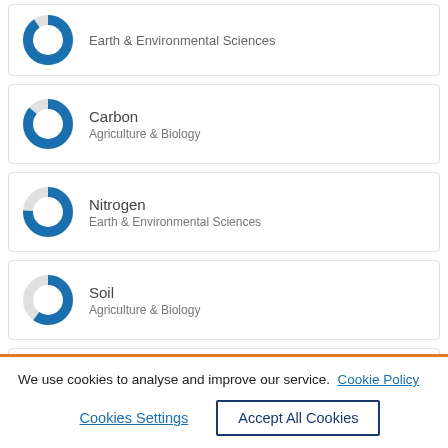Earth & Environmental Sciences
Carbon
Agriculture & Biology
Nitrogen
Earth & Environmental Sciences
Soil
Agriculture & Biology
Polypropylenes
Agriculture & Biology
We use cookies to analyse and improve our service. Cookie Policy